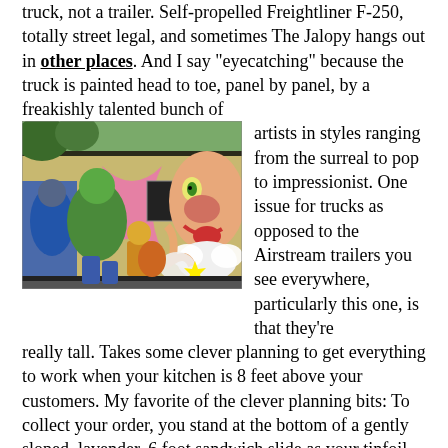truck, not a trailer. Self-propelled Freightliner F-250, totally street legal, and sometimes The Jalopy hangs out in other places. And I say "eyecatching" because the truck is painted head to toe, panel by panel, by a freakishly talented bunch of artists in styles ranging from the surreal to pop to impressionist. One issue for trucks as opposed to the Airstream trailers you see everywhere, particularly this one, is that they're really tall. Takes some clever planning to get everything to work when your kitchen is 8 feet above your customers. My favorite of the clever planning bits: To collect your order, you stand at the bottom of a gently sloped, lavender, 6 foot sandwich slide as your tinfoil wrapped packed of goodness slides down.
[Figure (photo): A food truck painted with colorful murals including a large pink ribbon, surreal and pop art style characters covering the side panels.]
The food is less varied than the design, but no less artful